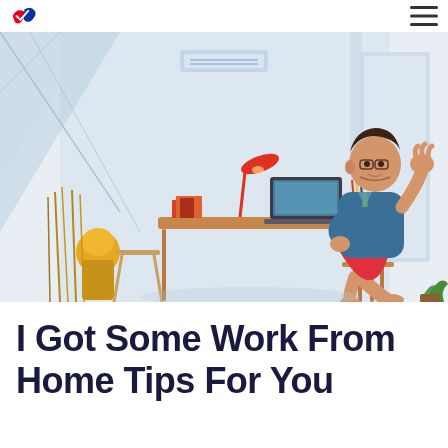Logo and navigation menu icon
[Figure (illustration): Flat-style illustration of a man sitting at a desk working from home on a laptop, wearing a blue shirt and red shorts. The room has large windows, a desk lamp, books, pencil holder, and decorative plants. Light and airy home office setting.]
I Got Some Work From Home Tips For You